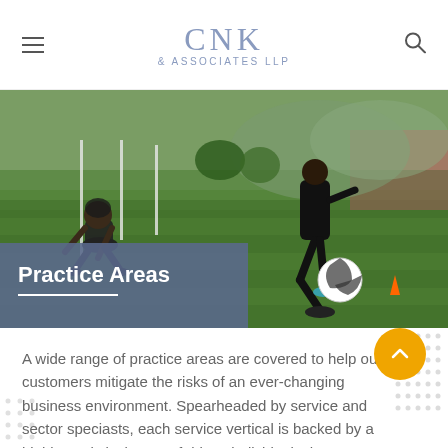CNK & ASSOCIATES LLP
[Figure (photo): Soccer players on a green field practicing, one kicking a ball, another diving for the ball. Outdoor athletic setting.]
Practice Areas
A wide range of practice areas are covered to help our customers mitigate the risks of an ever-changing business environment. Spearheaded by service and sector specialists, each service vertical is backed by a highly analytical team of driven individuals that ensure clients grow in a competent and unified manner